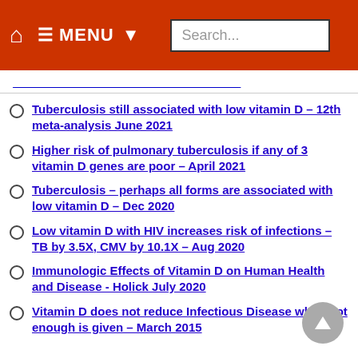MENU Search...
Tuberculosis still associated with low vitamin D – 12th meta-analysis June 2021
Higher risk of pulmonary tuberculosis if any of 3 vitamin D genes are poor – April 2021
Tuberculosis – perhaps all forms are associated with low vitamin D – Dec 2020
Low vitamin D with HIV increases risk of infections – TB by 3.5X, CMV by 10.1X – Aug 2020
Immunologic Effects of Vitamin D on Human Health and Disease - Holick July 2020
Vitamin D does not reduce Infectious Disease when not enough is given – March 2015